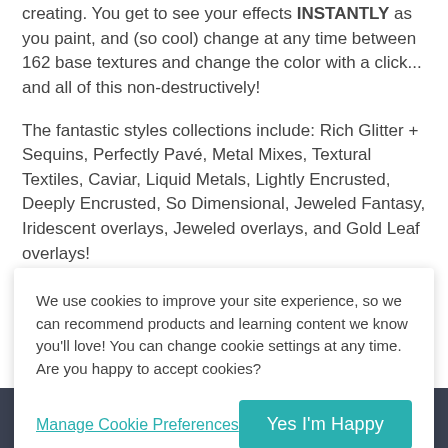creating. You get to see your effects INSTANTLY as you paint, and (so cool) change at any time between 162 base textures and change the color with a click... and all of this non-destructively!
The fantastic styles collections include: Rich Glitter + Sequins, Perfectly Pavé, Metal Mixes, Textural Textiles, Caviar, Liquid Metals, Lightly Encrusted, Deeply Encrusted, So Dimensional, Jeweled Fantasy, Iridescent overlays, Jeweled overlays, and Gold Leaf overlays!
We use cookies to improve your site experience, so we can recommend products and learning content we know you'll love! You can change cookie settings at any time. Are you happy to accept cookies?
Manage Cookie Preferences
Yes I'm Happy